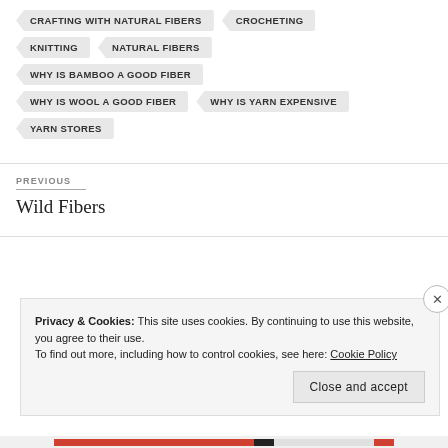CRAFTING WITH NATURAL FIBERS
CROCHETING
KNITTING
NATURAL FIBERS
WHY IS BAMBOO A GOOD FIBER
WHY IS WOOL A GOOD FIBER
WHY IS YARN EXPENSIVE
YARN STORES
PREVIOUS
Wild Fibers
Privacy & Cookies: This site uses cookies. By continuing to use this website, you agree to their use.
To find out more, including how to control cookies, see here: Cookie Policy
Close and accept